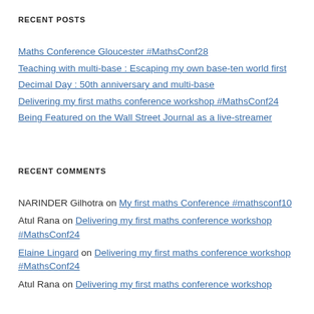RECENT POSTS
Maths Conference Gloucester #MathsConf28
Teaching with multi-base : Escaping my own base-ten world first
Decimal Day : 50th anniversary and multi-base
Delivering my first maths conference workshop #MathsConf24
Being Featured on the Wall Street Journal as a live-streamer
RECENT COMMENTS
NARINDER Gilhotra on My first maths Conference #mathsconf10
Atul Rana on Delivering my first maths conference workshop #MathsConf24
Elaine Lingard on Delivering my first maths conference workshop #MathsConf24
Atul Rana on Delivering my first maths conference workshop